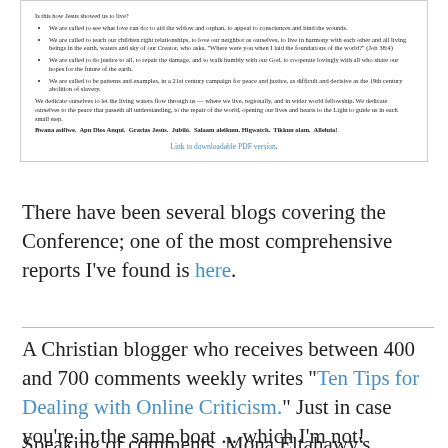[Figure (screenshot): Inset box with religious text including bullet points and bold multilingual phrases, with a link to downloadable PDF version]
There have been several blogs covering the Conference; one of the most comprehensive reports I've found is here.
A Christian blogger who receives between 400 and 700 comments weekly writes "Ten Tips for Dealing with Online Criticism." Just in case you're in the same boat ... which I'm not!
Speaking of comments, Mona Eltahawy's Foreign Policy article on misogyny, "Why do they hate us?", has received (at the moment) 2,160 of them. Today I listened to her